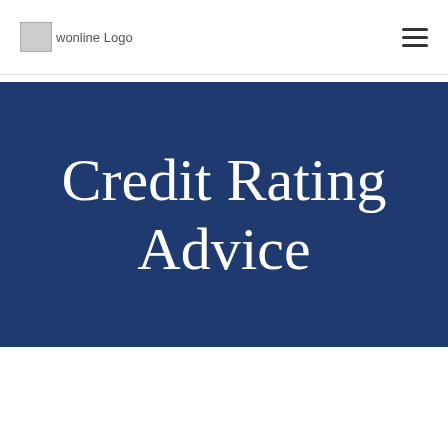wonline Logo [hamburger menu]
Credit Rating Advice